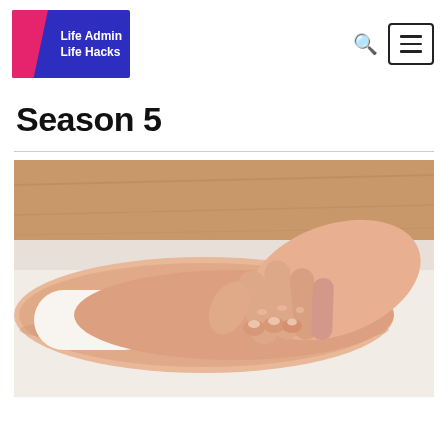Life Admin Life Hacks
Season 5
[Figure (photo): Close-up photo of a hand pressing/touching the inside of a wrist or forearm, on a white surface, with a wooden background visible. Appears to be a medical or therapeutic context (pulse check or acupuncture/massage).]